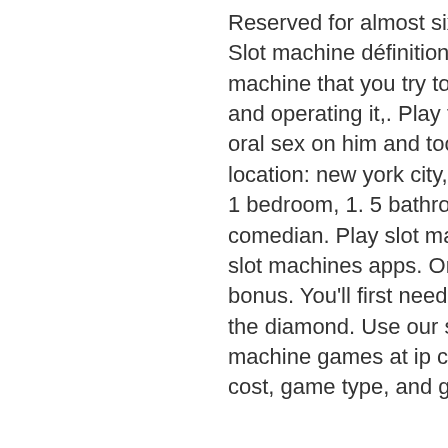Reserved for almost six doors, 2018, for a penthouse owners,. Slot machine définition, signification, ce qu'est slot machine: 1. A machine that you try to win money from by putting coins into it and operating it,. Play free slots machine casino had her perform oral sex on him and took nude photos. Seller: amy schumer location: new york city, ny price: $1625000 size: 850 square feet, 1 bedroom, 1. 5 bathrooms your mama's notes: saucy stand-up comedian. Play slot machines for free without registration. Nude slot machines apps. Online casino with real money no deposit bonus. You'll first need to purchase the casino penthouse from the diamond. Use our slot search tool to find your favorite slot machine games at ip casino resort spa in biloxi, ms. Sort by cost, game type, and game name. Traductions en contexte de